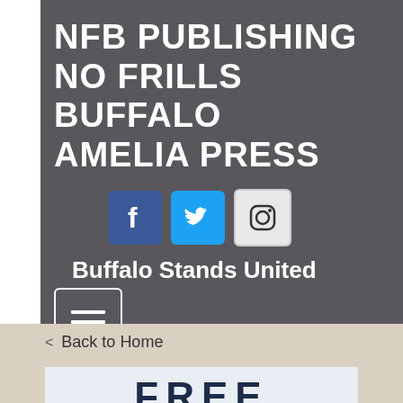NFB PUBLISHING
NO FRILLS BUFFALO
AMELIA PRESS
[Figure (logo): Three social media icons: Facebook (blue square with 'f'), Twitter (light blue square with bird), Instagram (grey square with camera icon)]
Buffalo Stands United
[Figure (other): Hamburger menu button - white square outline with three horizontal lines]
< Back to Home
[Figure (photo): Partial image showing the word FREE in large bold dark navy letters on a light blue/white background, with italic text partially visible below]